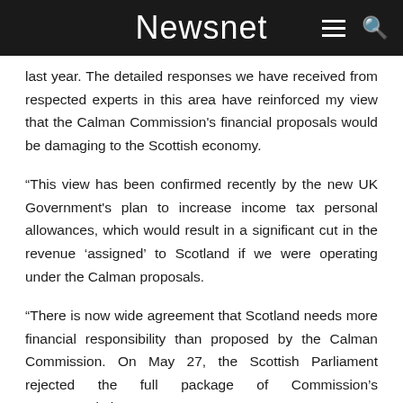Newsnet
last year. The detailed responses we have received from respected experts in this area have reinforced my view that the Calman Commission's financial proposals would be damaging to the Scottish economy.
“This view has been confirmed recently by the new UK Government's plan to increase income tax personal allowances, which would result in a significant cut in the revenue ‘assigned’ to Scotland if we were operating under the Calman proposals.
“There is now wide agreement that Scotland needs more financial responsibility than proposed by the Calman Commission. On May 27, the Scottish Parliament rejected the full package of Commission’s recommendations,